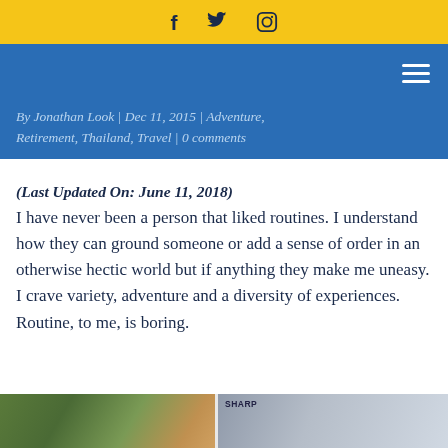f  🐦  📷
☰
By Jonathan Look | Dec 11, 2015 | Adventure, Retirement, Thailand, Travel | 0 comments
(Last Updated On: June 11, 2018) I have never been a person that liked routines. I understand how they can ground someone or add a sense of order in an otherwise hectic world but if anything they make me uneasy. I crave variety, adventure and a diversity of experiences. Routine, to me, is boring.
[Figure (photo): Partial photo strip at the bottom of the page showing what appears to be an outdoor/urban scene on the left and a building or sign on the right]